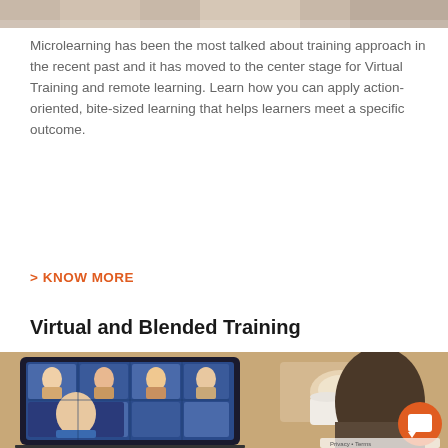[Figure (photo): Top portion of a photo showing people in a professional/training setting, partially cropped at top of page]
Microlearning has been the most talked about training approach in the recent past and it has moved to the center stage for Virtual Training and remote learning. Learn how you can apply action-oriented, bite-sized learning that helps learners meet a specific outcome.
> KNOW MORE
Virtual and Blended Training
[Figure (photo): Person viewed from behind looking at a laptop screen showing a video conference grid with multiple participants. A coffee cup is visible in the background. An orange chat button is visible in the bottom right corner.]